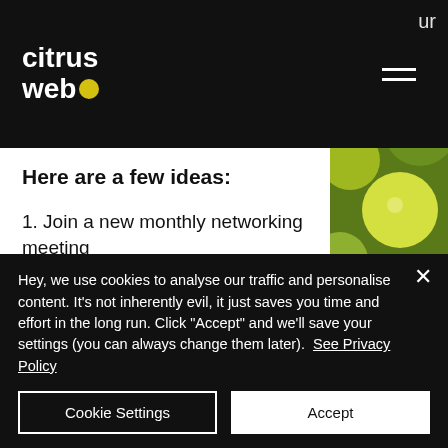citrus web [logo]
Here are a few ideas:
1. Join a new monthly networking meeting
2. Exhibit at more trades shows
3. Visit all your clients and sell one new thing to each
Hey, we use cookies to analyse our traffic and personalise content. It's not inherently evil, it just saves you time and effort in the long run. Click "Accept" and we'll save your settings (you can always change them later).  See Privacy Policy
Cookie Settings
Accept